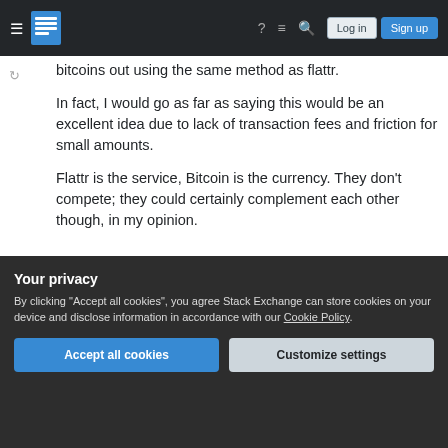Stack Exchange navigation bar with hamburger menu, logo, help, chat, search icons, Log in and Sign up buttons
bitcoins out using the same method as flattr.
In fact, I would go as far as saying this would be an excellent idea due to lack of transaction fees and friction for small amounts.
Flattr is the service, Bitcoin is the currency. They don't compete; they could certainly complement each other though, in my opinion.
Share
Improve this answer
edited Oct 14, 2017 at 8:47
Glorfindel
Your privacy
By clicking "Accept all cookies", you agree Stack Exchange can store cookies on your device and disclose information in accordance with our Cookie Policy.
Accept all cookies
Customize settings